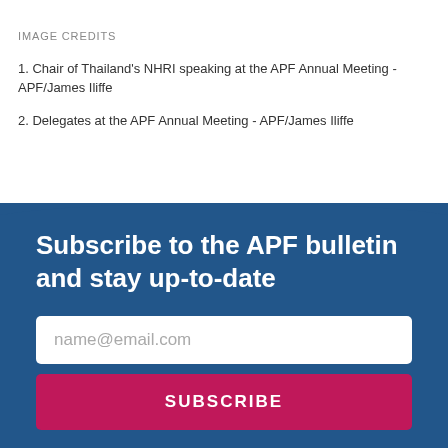IMAGE CREDITS
1. Chair of Thailand's NHRI speaking at the APF Annual Meeting - APF/James Iliffe
2. Delegates at the APF Annual Meeting - APF/James Iliffe
Subscribe to the APF bulletin and stay up-to-date
name@email.com
SUBSCRIBE